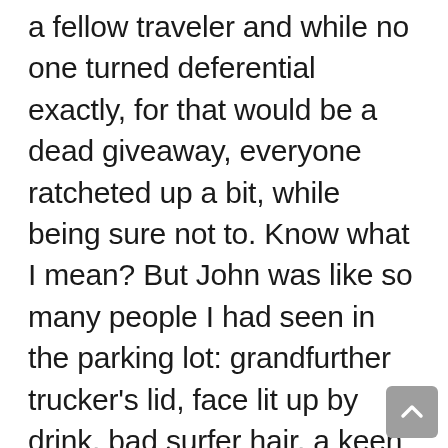a fellow traveler and while no one turned deferential exactly, for that would be a dead giveaway, everyone ratcheted up a bit, while being sure not to. Know what I mean? But John was like so many people I had seen in the parking lot: grandfurther trucker's lid, face lit up by drink, bad surfer hair, a keen sense of when parties were much, much better but glad for the opportunity nonetheless. A very likeable person, I'm trying to say. One you could count on to give you a bear hug to bring you back down after a particularly unexpected effect from the garbage bag full of nitrous.